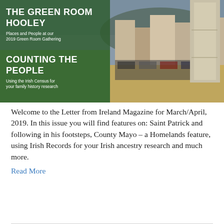[Figure (photo): Magazine cover image showing two overlaid sections: left panel with green overlay text reading 'THE GREEN ROOM HOOLEY - Places and People at our 2019 Green Room Gathering' and 'COUNTING THE PEOPLE - Using the Irish Census for your family history research'; right panel shows a street scene in an Irish town with a stone monument/pillar in the foreground and colourful buildings and parked cars in the background.]
Welcome to the Letter from Ireland Magazine for March/April, 2019. In this issue you will find features on: Saint Patrick and following in his footsteps, County Mayo – a Homelands feature, using Irish Records for your Irish ancestry research and much more.
Read More